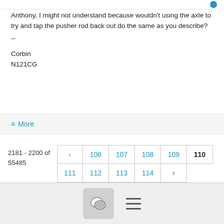Anthony, I might not understand because wouldn't using the axle to try and tap the pusher rod back out do the same as you describe?
--

Corbin
N121CG
≡ More
2181 - 2200 of 55485
[Figure (screenshot): Pagination controls with page numbers 106, 107, 108, 109, 110 (active/bold), 111, 112, 113, 114, with previous and next arrow buttons]
[Figure (screenshot): Bottom navigation bar with chat bubble icon button and hamburger menu icon]